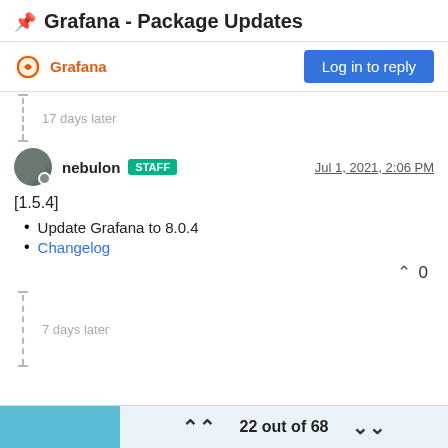📌 Grafana - Package Updates
Grafana | Log in to reply
17 days later
nebulon STAFF — Jul 1, 2021, 2:06 PM
[1.5.4]
Update Grafana to 8.0.4
Changelog
7 days later
22 out of 68